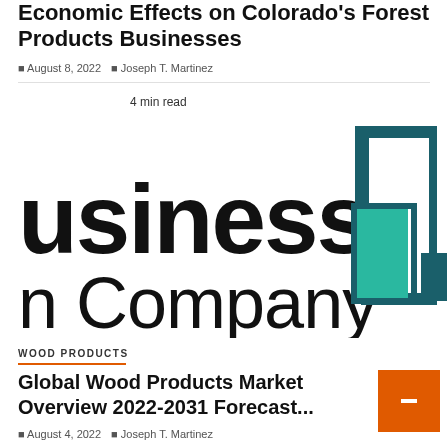Economic Effects on Colorado's Forest Products Businesses
August 8, 2022  Joseph T. Martinez
4 min read
[Figure (logo): Business Company logo with bar chart graphic in teal and dark teal colors, partially cropped showing 'usiness' and 'n Company' text]
WOOD PRODUCTS
Global Wood Products Market Overview 2022-2031 Forecast...
August 4, 2022  Joseph T. Martinez